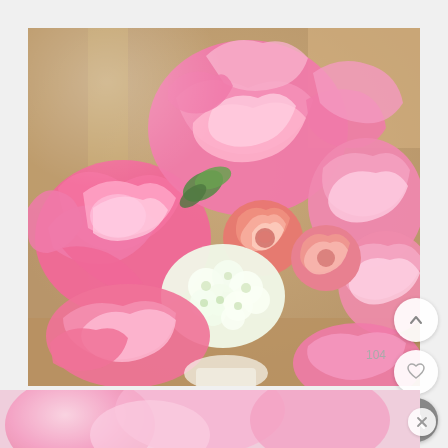[Figure (photo): Close-up photograph of a floral bouquet featuring large pink roses, smaller coral/salmon roses, white hyacinth or stock flowers, and green leaves, arranged in a white vase on a wooden surface. The background is blurred (bokeh effect). UI overlay elements include a chevron-up button, a heart/favorite button with a count of 104, and a magnifying glass/search button in the lower right corner.]
[Figure (photo): Blurred thumbnail preview strip at the bottom showing pink flowers, partially visible, with an X/close button in the lower right corner.]